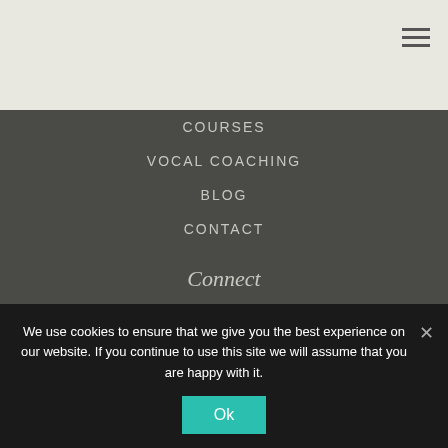[Figure (other): Hamburger menu icon (three horizontal lines) in top right corner of a light gray header bar]
COURSES
VOCAL COACHING
BLOG
CONTACT
Connect
[Figure (infographic): Row of six social media icons: Twitter (blue bird), Facebook (gray f), Instagram (gray camera), LinkedIn (blue in), Pinterest (red circle P), YouTube (gray play button)]
Let's stay in touch...subscribe here!
We use cookies to ensure that we give you the best experience on our website. If you continue to use this site we will assume that you are happy with it.
Ok